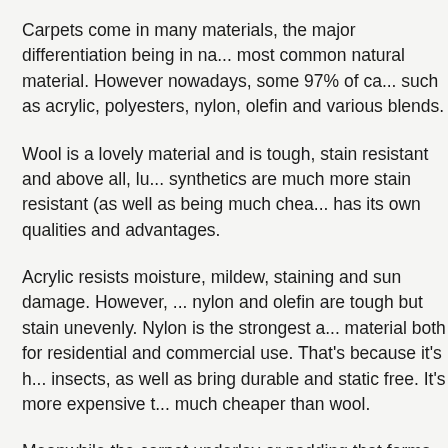Carpets come in many materials, the major differentiation being in na... most common natural material. However nowadays, some 97% of ca... such as acrylic, polyesters, nylon, olefin and various blends.
Wool is a lovely material and is tough, stain resistant and above all, lu... synthetics are much more stain resistant (as well as being much chea... has its own qualities and advantages.
Acrylic resists moisture, mildew, staining and sun damage. However, ... nylon and olefin are tough but stain unevenly. Nylon is the strongest a... material both for residential and commercial use. That's because it's h... insects, as well as bring durable and static free. It's more expensive t... much cheaper than wool.
Meanwhile the carpet underlay or padding that forms the base for the... materials. These include sponge rubber, foam rubber and urethane fo...
Taking Care of Your Carpets